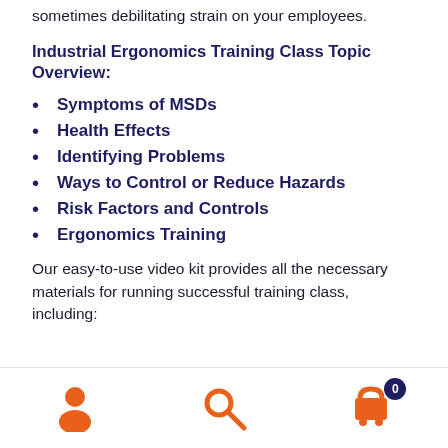sometimes debilitating strain on your employees.
Industrial Ergonomics Training Class Topic Overview:
Symptoms of MSDs
Health Effects
Identifying Problems
Ways to Control or Reduce Hazards
Risk Factors and Controls
Ergonomics Training
Our easy-to-use video kit provides all the necessary materials for running successful training class, including:
[Figure (other): Bottom navigation bar with user/account icon (orange), search icon (orange), and shopping cart icon (orange) with a badge showing 0 items (dark navy circle)]